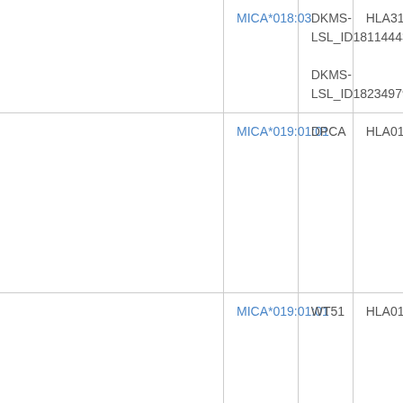| Allele | Source | Code |
| --- | --- | --- |
| MICA*018:03 | DKMS-LSL_ID18114443
DKMS-LSL_ID18234979 | HLA312... |
| MICA*019:01:01 | DPCA | HLA013... |
| MICA*019:01:01 | WT51 | HLA013... |